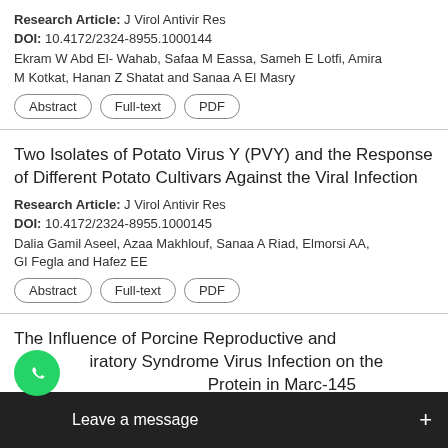Research Article: J Virol Antivir Res
DOI: 10.4172/2324-8955.1000144
Ekram W Abd El- Wahab, Safaa M Eassa, Sameh E Lotfi, Amira M Kotkat, Hanan Z Shatat and Sanaa A El Masry
Abstract | Full-text | PDF
Two Isolates of Potato Virus Y (PVY) and the Response of Different Potato Cultivars Against the Viral Infection
Research Article: J Virol Antivir Res
DOI: 10.4172/2324-8955.1000145
Dalia Gamil Aseel, Azaa Makhlouf, Sanaa A Riad, Elmorsi AA, GI Fegla and Hafez EE
Abstract | Full-text | PDF
The Influence of Porcine Reproductive and Respiratory Syndrome Virus Infection on the Protein in Marc-145 Cell